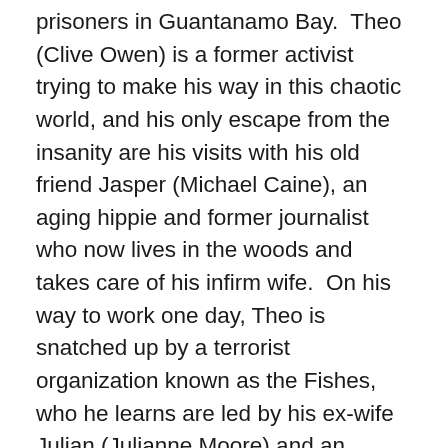prisoners in Guantanamo Bay. Theo (Clive Owen) is a former activist trying to make his way in this chaotic world, and his only escape from the insanity are his visits with his old friend Jasper (Michael Caine), an aging hippie and former journalist who now lives in the woods and takes care of his infirm wife. On his way to work one day, Theo is snatched up by a terrorist organization known as the Fishes, who he learns are led by his ex-wife Julian (Julianne Moore) and an idealistic young activist named Luke (Chiwetel Ejiofor). They want Theo to use his government connections to secure a permit that will allow a young refugee named Kee (Clare-Hope Ashitey) and her caretaker Miriam (Pam Ferris) to leave the country. Along the way, Theo discovers that Kee is pregnant, and that she represents Mankind's best hope for survival. Now Theo must protect Kee from those who would exploit her and her unborn baby, and he vows to get them both out of the country and into the